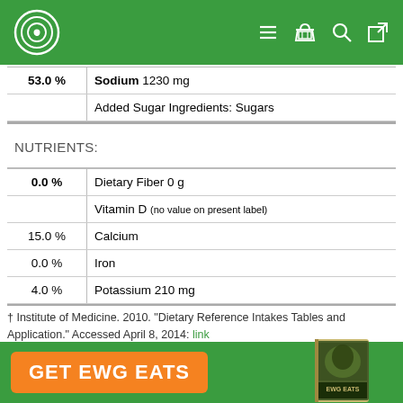EWG header with logo and navigation icons
| % DV | Nutrient |
| --- | --- |
| 53.0 % | Sodium 1230 mg |
|  | Added Sugar Ingredients: Sugars |
NUTRIENTS:
| % DV | Nutrient |
| --- | --- |
| 0.0 % | Dietary Fiber 0 g |
|  | Vitamin D (no value on present label) |
| 15.0 % | Calcium |
| 0.0 % | Iron |
| 4.0 % | Potassium 210 mg |
† Institute of Medicine. 2010. "Dietary Reference Intakes Tables and Application." Accessed April 8, 2014: link
GET EWG EATS